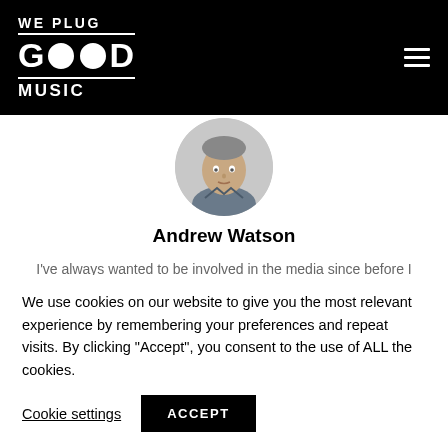WE PLUG GOOD MUSIC
[Figure (photo): Circular profile photo of Andrew Watson, a man facing the camera with a neutral expression, wearing a collared shirt, against a light background.]
Andrew Watson
I've always wanted to be involved in the media since before I even left school; to write for a living. I feel most eloquent when mapping out my thoughts on paper or on a computer screen. I
We use cookies on our website to give you the most relevant experience by remembering your preferences and repeat visits. By clicking "Accept", you consent to the use of ALL the cookies.
Cookie settings  ACCEPT